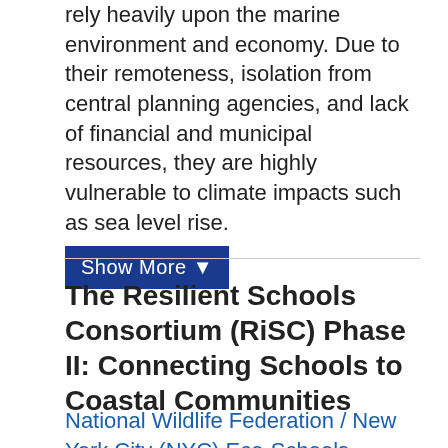rely heavily upon the marine environment and economy. Due to their remoteness, isolation from central planning agencies, and lack of financial and municipal resources, they are highly vulnerable to climate impacts such as sea level rise.
Show More ▼
The Resilient Schools Consortium (RiSC) Phase II: Connecting Schools to Coastal Communities
National Wildlife Federation / New York City (NYC) Eco-Schools